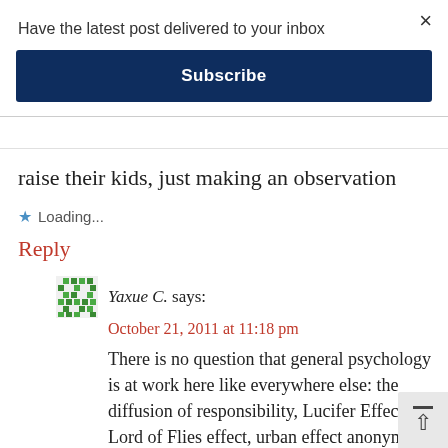Have the latest post delivered to your inbox
Subscribe
raise their kids, just making an observation
Loading...
Reply
Yaxue C. says:
October 21, 2011 at 11:18 pm
There is no question that general psychology is at work here like everywhere else: the diffusion of responsibility, Lucifer Effect, Lord of Flies effect, urban effect anonymity effect, etc., but “Chinese